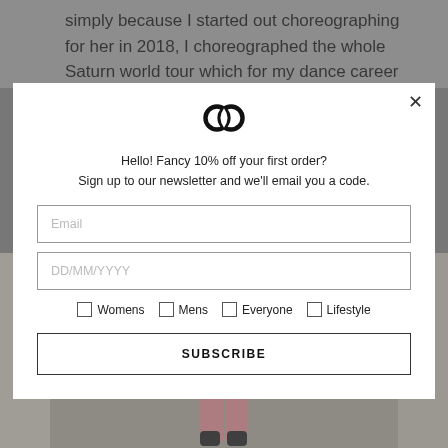simply because I started out choreographing for her in 2018, I choreographed the whole Saturn world tour which for my dance career literally
[Figure (screenshot): Newsletter signup modal popup overlay on a website. Contains a logo (two overlapping circles), headline text, email input, date input, checkboxes for Womens/Mens/Everyone/Lifestyle, and a SUBSCRIBE button. Background shows blog text and a photo of a person in a green top and pink pants.]
Hello! Fancy 10% off your first order? Sign up to our newsletter and we'll email you a code.
Email
DD/MM/YYYY
Womens
Mens
Everyone
Lifestyle
SUBSCRIBE